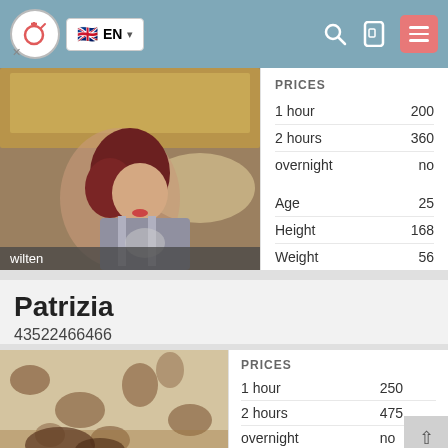EN
[Figure (photo): Profile photo of a woman with red hair lying on a bed, wearing a grey top. Location label 'wilten' shown at bottom.]
|  |  |
| --- | --- |
| PRICES |  |
| 1 hour | 200 |
| 2 hours | 360 |
| overnight | no |
| Age | 25 |
| Height | 168 |
| Weight | 56 |
| Breast | 3 |
Patrizia
43522466466
[Figure (photo): Close-up photo of patterned fabric/bedding in brown and white tones.]
|  |  |
| --- | --- |
| PRICES |  |
| 1 hour | 250 |
| 2 hours | 475 |
| overnight | no |